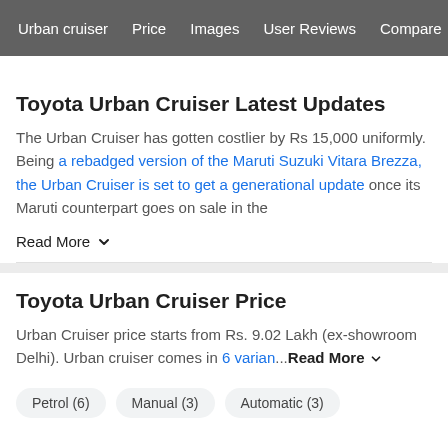Urban cruiser | Price | Images | User Reviews | Compare
Toyota Urban Cruiser Latest Updates
The Urban Cruiser has gotten costlier by Rs 15,000 uniformly. Being a rebadged version of the Maruti Suzuki Vitara Brezza, the Urban Cruiser is set to get a generational update once its Maruti counterpart goes on sale in the
Read More
Toyota Urban Cruiser Price
Urban Cruiser price starts from Rs. 9.02 Lakh (ex-showroom Delhi). Urban cruiser comes in 6 varian... Read More
Petrol (6)
Manual (3)
Automatic (3)